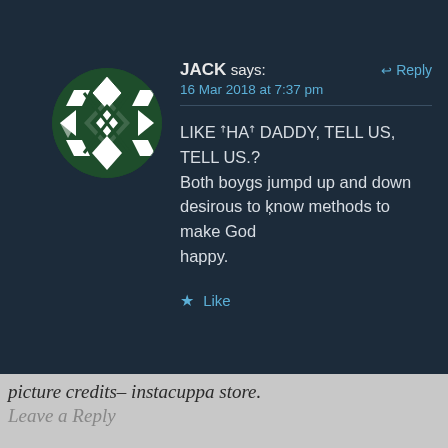[Figure (illustration): Circular avatar image with a green and white geometric diamond/star pattern on dark green background]
JACK says:
↩ Reply
16 Mar 2018 at 7:37 pm
LIKE ꜛHAꜛ DADDY, TELL US, TELL US.?
Both boygs jumpd up and down desirous to know methods to make God
happy.
★ Like
picture credits– instacuppa store.
Leave a Reply